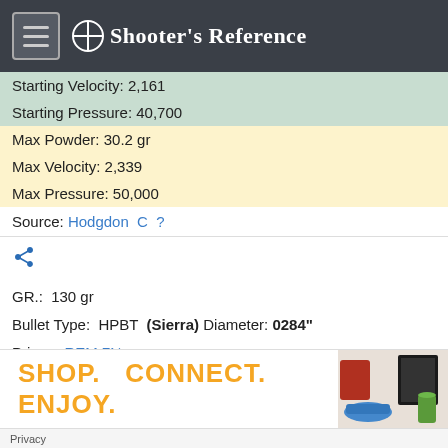Shooter's Reference
Starting Velocity: 2,161
Starting Pressure: 40,700
Max Powder: 30.2 gr
Max Velocity: 2,339
Max Pressure: 50,000
Source: Hodgdon C
GR.: 130 gr
Bullet Type: HPBT (Sierra) Diameter: 0284"
Primer: REM 7½
Powder: H322 (Hodgdon)
Case: REM
SHOP. CONNECT. ENJOY.
Privacy